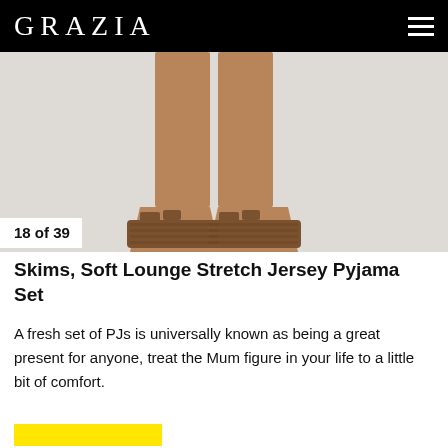GRAZIA
[Figure (photo): Close-up of model's legs wearing tan/caramel colored wide-leg pyjama pants and brown woven flat sandals against a light grey background]
18 of 39
Skims, Soft Lounge Stretch Jersey Pyjama Set
A fresh set of PJs is universally known as being a great present for anyone, treat the Mum figure in your life to a little bit of comfort.